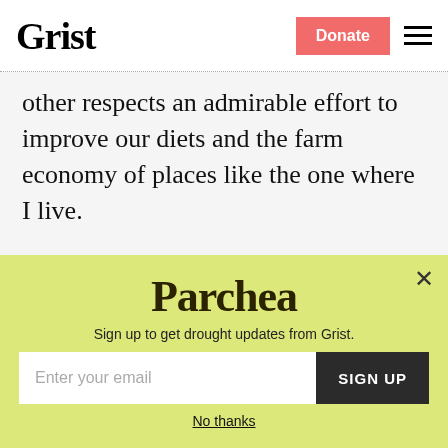Grist | Donate
other respects an admirable effort to improve our diets and the farm economy of places like the one where I live.
A final thought, one won with some hard experience. Along with corn and soybeans, we raise flowers. We first started selling them at the farm, and then at a local grocery
Parchea
Sign up to get drought updates from Grist.
Enter your email
SIGN UP
No thanks